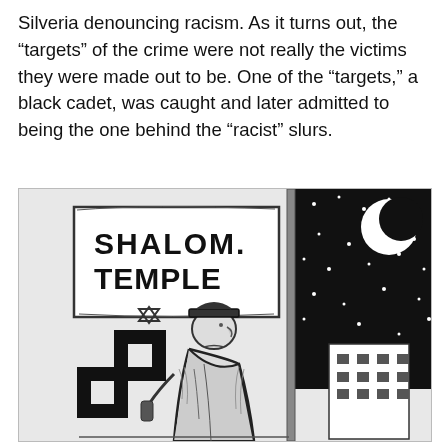Silveria denouncing racism. As it turns out, the “targets” of the crime were not really the victims they were made out to be. One of the “targets,” a black cadet, was caught and later admitted to being the one behind the “racist” slurs.
[Figure (illustration): Black and white line drawing/cartoon showing a figure in a hat and coat painting a swastika on a wall near a sign reading 'SHALOM TEMPLE' with a Star of David, set against a night sky with crescent moon and stars, and a building in the background.]